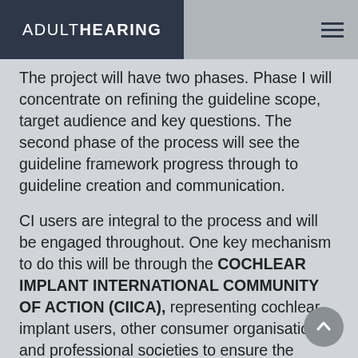ADULT HEARING
The project will have two phases. Phase I will concentrate on refining the guideline scope, target audience and key questions. The second phase of the process will see the guideline framework progress through to guideline creation and communication.
CI users are integral to the process and will be engaged throughout. One key mechanism to do this will be through the COCHLEAR IMPLANT INTERNATIONAL COMMUNITY OF ACTION (CIICA), representing cochlear implant users, other consumer organisations and professional societies to ensure the perspectives of adults with hearing loss are